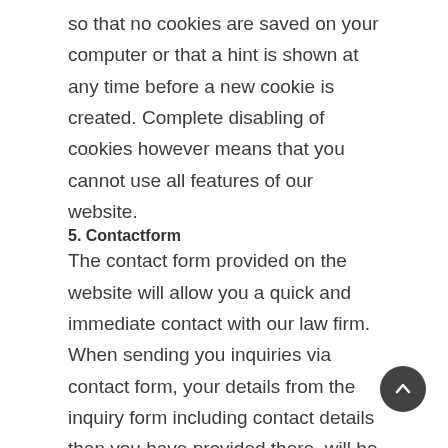so that no cookies are saved on your computer or that a hint is shown at any time before a new cookie is created. Complete disabling of cookies however means that you cannot use all features of our website.
5. Contactform
The contact form provided on the website will allow you a quick and immediate contact with our law firm. When sending you inquiries via contact form, your details from the inquiry form including contact details than you have provided there, will be saved in order to process your inquiry and in case of follow-up questions. We will not share this information without your consent. The processing of the data entered into the contact form is therefore exclusively based on your consent (art. 6 para.1 lit. a GDPR). You can revoke this consent at any